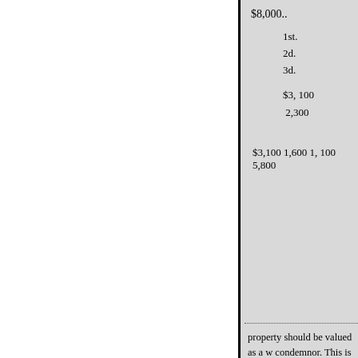$8,000..
1st.
2d.
3d.
$3, 100
2,300
$3,100 1,600 1, 100 5,800
property should be valued as a w condemnor. This is commonly k distributed among the various pe concerned (United States v. Dun 213 (C.A. 10, 1948); United Stat 367, 368 (C.A. 5, 1949); Phillips
Generally speaking, the distribut acquired by the United States is compensation for fixtures or oth